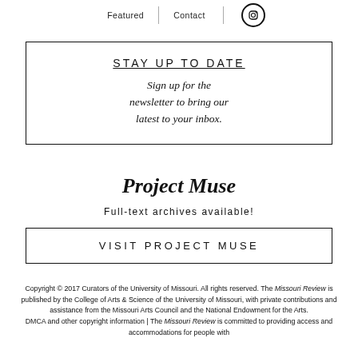Featured | Contact | [Instagram icon]
STAY UP TO DATE
Sign up for the newsletter to bring our latest to your inbox.
Project Muse
Full-text archives available!
VISIT PROJECT MUSE
Copyright © 2017 Curators of the University of Missouri. All rights reserved. The Missouri Review is published by the College of Arts & Science of the University of Missouri, with private contributions and assistance from the Missouri Arts Council and the National Endowment for the Arts. DMCA and other copyright information | The Missouri Review is committed to providing access and accommodations for people with